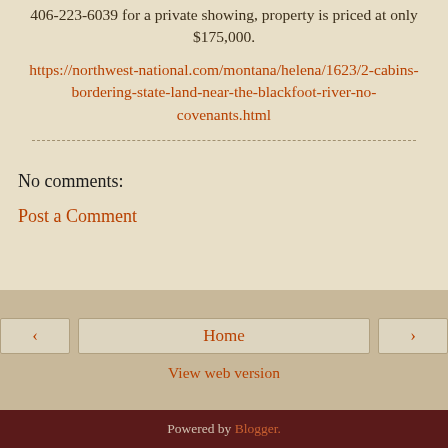406-223-6039 for a private showing, property is priced at only $175,000.
https://northwest-national.com/montana/helena/1623/2-cabins-bordering-state-land-near-the-blackfoot-river-no-covenants.html
No comments:
Post a Comment
Home
View web version
Powered by Blogger.